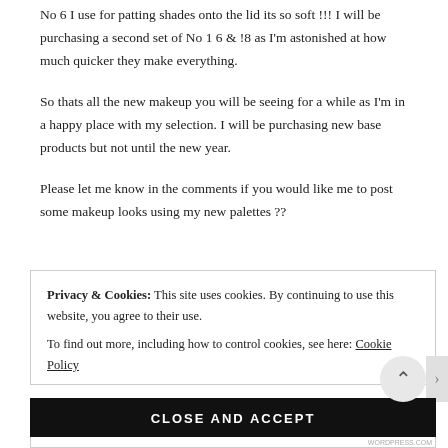No 6 I use for patting shades onto the lid its so soft !!! I will be purchasing a second set of No 1 6 & !8 as I'm astonished at how much quicker they make everything.
So thats all the new makeup you will be seeing for a while as I'm in a happy place with my selection. I will be purchasing new base products but not until the new year.
Please let me know in the comments if you would like me to post some makeup looks using my new palettes ??
Privacy & Cookies: This site uses cookies. By continuing to use this website, you agree to their use.
To find out more, including how to control cookies, see here: Cookie Policy
CLOSE AND ACCEPT